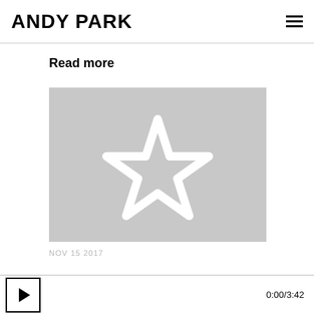ANDY PARK
Read more
[Figure (illustration): A gray rectangle placeholder image with a white outlined star shape in the center]
NOV 15 2017
0:00/3:42